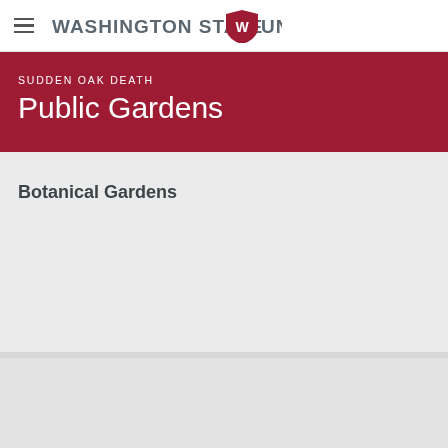Washington State University
SUDDEN OAK DEATH Public Gardens
Botanical Gardens